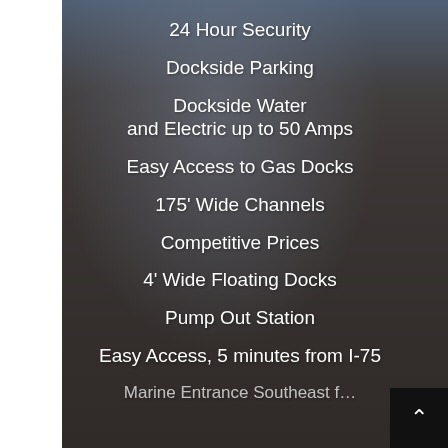24 Hour Security
Dockside Parking
Dockside Water and Electric up to 50 Amps
Easy Access to Gas Docks
175' Wide Channels
Competitive Prices
4' Wide Floating Docks
Pump Out Station
Easy Access, 5 minutes from I-75
Marine Entrance Southeast f…